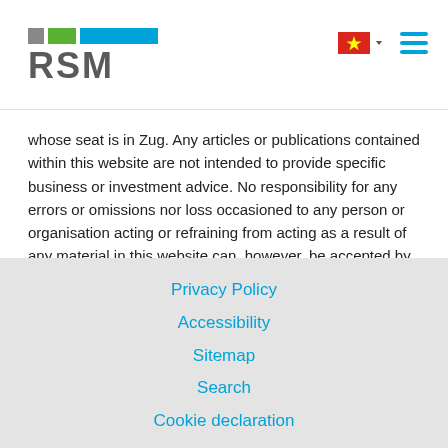[Figure (logo): RSM logo with colored blocks and RSM text]
whose seat is in Zug. Any articles or publications contained within this website are not intended to provide specific business or investment advice. No responsibility for any errors or omissions nor loss occasioned to any person or organisation acting or refraining from acting as a result of any material in this website can, however, be accepted by the author(s) or RSM International. You should take specific independent advice before making any business or investment decision.
Privacy Policy
Accessibility
Sitemap
Search
Cookie declaration